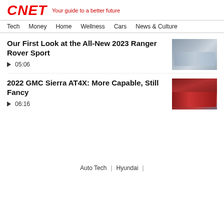CNET Your guide to a better future
Tech  Money  Home  Wellness  Cars  News & Culture
Our First Look at the All-New 2023 Ranger Rover Sport
▶ 05:06
[Figure (photo): Thumbnail of silver Range Rover Sport SUV front 3/4 view]
2022 GMC Sierra AT4X: More Capable, Still Fancy
▶ 06:16
[Figure (photo): Thumbnail of red GMC Sierra AT4X truck front 3/4 view]
Auto Tech  |  Hyundai  |